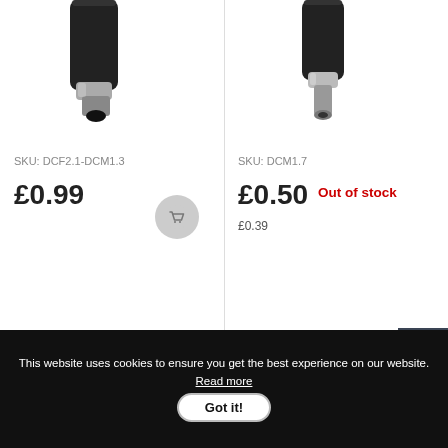[Figure (photo): Close-up of DC power connector plug (left product), cropped at top]
[Figure (photo): Close-up of DC power connector plug (right product), cropped at top]
SKU: DCF2.1-DCM1.3
£0.99
SKU: DCM1.7
£0.50
Out of stock
£0.39
DC Power Plugs - Male 4mm x 1.7mm 'L' Shape
DC Power Plugs - Male 2.1mm
This website uses cookies to ensure you get the best experience on our website.
Read more
Got it!